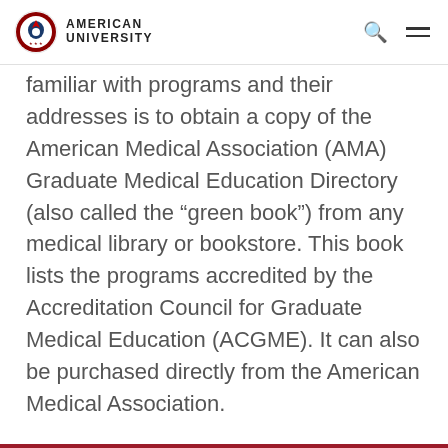AMERICAN UNIVERSITY
familiar with programs and their addresses is to obtain a copy of the American Medical Association (AMA) Graduate Medical Education Directory (also called the “green book”) from any medical library or bookstore. This book lists the programs accredited by the Accreditation Council for Graduate Medical Education (ACGME). It can also be purchased directly from the American Medical Association.
Match Program